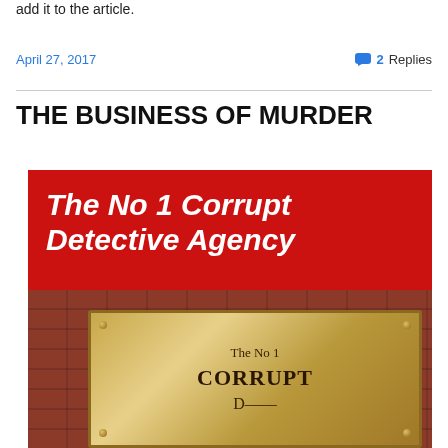add it to the article.
April 27, 2017   💬 2 Replies
THE BUSINESS OF MURDER
[Figure (photo): Book cover on red background with bold white italic text reading 'The No 1 Corrupt Detective Agency', with a brass plaque below showing 'The No 1 CORRUPT' text on brick wall background.]